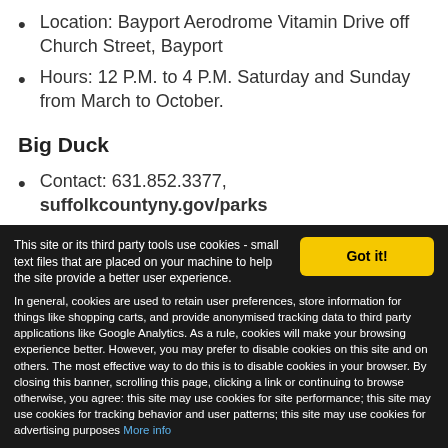Location: Bayport Aerodrome Vitamin Drive off Church Street, Bayport
Hours: 12 P.M. to 4 P.M. Saturday and Sunday from March to October.
Big Duck
Contact: 631.852.3377, suffolkcountyny.gov/parks
Location: 1012 Flanders Road, Route 24, Flanders
Hours: 10 A.M. to 5 P.M. Mondays through
This site or its third party tools use cookies - small text files that are placed on your machine to help the site provide a better user experience. In general, cookies are used to retain user preferences, store information for things like shopping carts, and provide anonymised tracking data to third party applications like Google Analytics. As a rule, cookies will make your browsing experience better. However, you may prefer to disable cookies on this site and on others. The most effective way to do this is to disable cookies in your browser. By closing this banner, scrolling this page, clicking a link or continuing to browse otherwise, you agree: this site may use cookies for site performance; this site may use cookies for tracking behavior and user patterns; this site may use cookies for advertising purposes More info